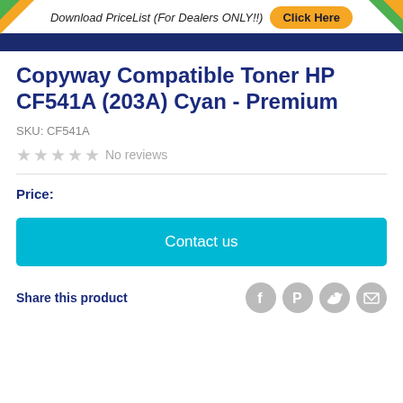Download PriceList (For Dealers ONLY!!) Click Here
Copyway Compatible Toner HP CF541A (203A) Cyan - Premium
SKU: CF541A
No reviews
Price:
Contact us
Share this product